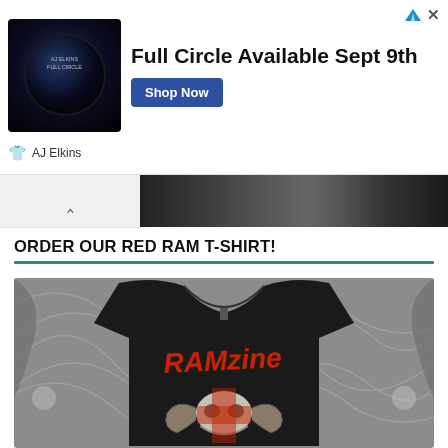[Figure (photo): Advertisement banner for AJ Elkins 'Full Circle' album with album art, text, and Shop Now button]
[Figure (photo): Partial dark banner image visible below the ad]
ORDER OUR RED RAM T-SHIRT!
[Figure (photo): Black RAMzine t-shirt with red lettering and ram skull graphic design on grey swirling background]